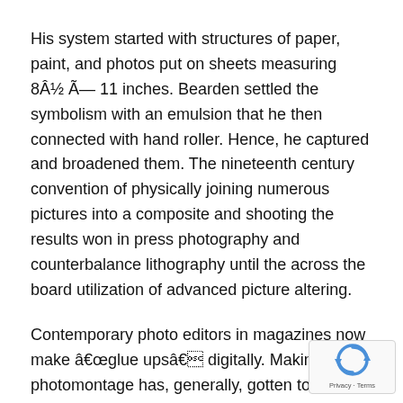His system started with structures of paper, paint, and photos put on sheets measuring 8Â½ Ã— 11 inches. Bearden settled the symbolism with an emulsion that he then connected with hand roller. Hence, he captured and broadened them. The nineteenth century convention of physically joining numerous pictures into a composite and shooting the results won in press photography and counterbalance lithography until the across the board utilization of advanced picture altering.
Contemporary photo editors in magazines now make â€œglue upsâ€ digitally. Making a photomontage has, generally, gotten to be less demanding with the appearance of machine programming, for example, Adobe Photosh Paint Shop Pro, Corel Photopaint, Pixelmator, Paint.ne GIMP. These projects roll out the improvements digita...